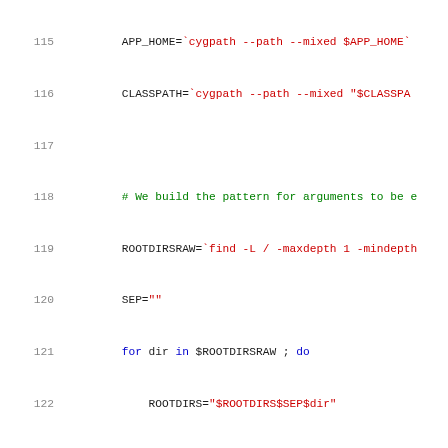[Figure (screenshot): Shell script source code snippet showing lines 115-136, with syntax highlighting. Line numbers in gray on left, keywords in blue, strings in red/dark-red, comments in green, and plain identifiers in dark color.]